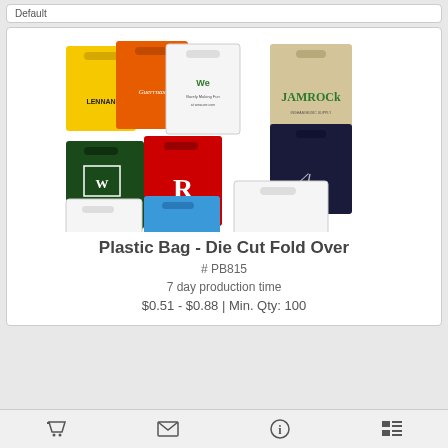Default
[Figure (photo): Multiple custom printed plastic die cut fold over bags in various colors (yellow, orange, white, tan, dark green, red, dark navy, white) with different brand logos: LENNAN, Guerrmax, We, JAMROCK, AMBERTON, R ATHLETICS, OceanSafe Boating, Security Service, The Bariatric Care Center]
Plastic Bag - Die Cut Fold Over
# PB815
7 day production time
$0.51 - $0.88 | Min. Qty: 100
Cart | Email | Info | List icons